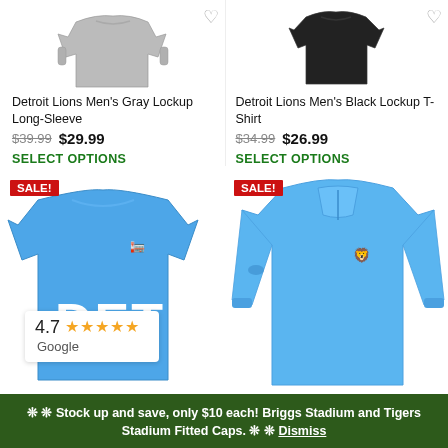[Figure (photo): Detroit Lions Men's Gray Lockup Long-Sleeve shirt product image (gray long-sleeve shirt on white background)]
Detroit Lions Men's Gray Lockup Long-Sleeve
$39.99  $29.99
SELECT OPTIONS
[Figure (photo): Detroit Lions Men's Black Lockup T-Shirt product image (black t-shirt on white background)]
Detroit Lions Men's Black Lockup T-Shirt
$34.99  $26.99
SELECT OPTIONS
[Figure (photo): Detroit Lions blue DET t-shirt with SALE badge]
[Figure (photo): Detroit Lions blue quarter-zip jacket with SALE badge]
4.7 ★★★★★ Google
❊ ❊ Stock up and save, only $10 each! Briggs Stadium and Tigers Stadium Fitted Caps. ❊ ❊ Dismiss